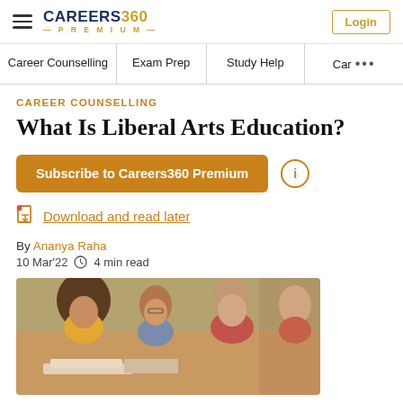CAREERS360 PREMIUM — Login
Career Counselling | Exam Prep | Study Help | Car •••
CAREER COUNSELLING
What Is Liberal Arts Education?
Subscribe to Careers360 Premium
Download and read later
By Ananya Raha
10 Mar'22   4 min read
[Figure (photo): Students studying outdoors, group of diverse young adults reading and writing, warm outdoor setting]